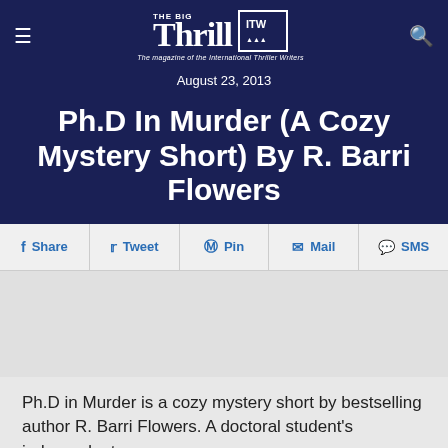The Big Thrill — The magazine of the International Thriller Writers
August 23, 2013
Ph.D In Murder (A Cozy Mystery Short) By R. Barri Flowers
Share  Tweet  Pin  Mail  SMS
Ph.D in Murder is a cozy mystery short by bestselling author R. Barri Flowers. A doctoral student's independent